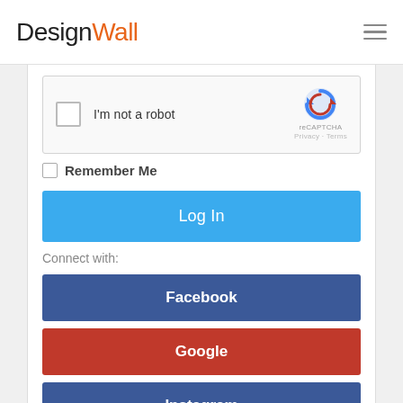DesignWall
[Figure (screenshot): reCAPTCHA widget with checkbox, 'I'm not a robot' text, reCAPTCHA logo, Privacy and Terms links]
Remember Me
Log In
Connect with:
Facebook
Google
Instagram